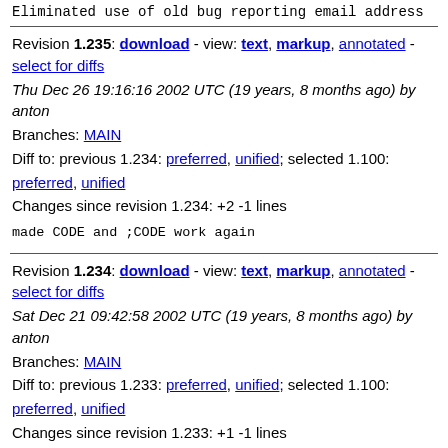Eliminated use of old bug reporting email address
Revision 1.235: download - view: text, markup, annotated - select for diffs
Thu Dec 26 19:16:16 2002 UTC (19 years, 8 months ago) by anton
Branches: MAIN
Diff to: previous 1.234: preferred, unified; selected 1.100: preferred, unified
Changes since revision 1.234: +2 -1 lines
made CODE and ;CODE work again
Revision 1.234: download - view: text, markup, annotated - select for diffs
Sat Dec 21 09:42:58 2002 UTC (19 years, 8 months ago) by anton
Branches: MAIN
Diff to: previous 1.233: preferred, unified; selected 1.100: preferred, unified
Changes since revision 1.233: +1 -1 lines
refined BUILD-FROM-SCRATCH
Revision 1.233: download - view: text, markup, annotated - select for diffs
Sun Dec 15 18:19:41 2002 UTC (19 years, 8 months ago) by anton
Branches: MAIN